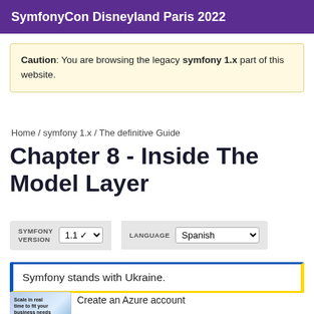SymfonyCon Disneyland Paris 2022
Caution: You are browsing the legacy symfony 1.x part of this website.
Home / symfony 1.x / The definitive Guide
Chapter 8 - Inside The Model Layer
SYMFONY VERSION 1.1 ▾   LANGUAGE Spanish
Symfony stands with Ukraine.
Create an Azure account